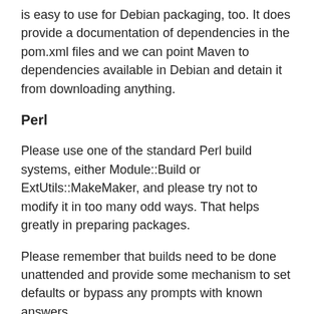is easy to use for Debian packaging, too. It does provide a documentation of dependencies in the pom.xml files and we can point Maven to dependencies available in Debian and detain it from downloading anything.
Perl
Please use one of the standard Perl build systems, either Module::Build or ExtUtils::MakeMaker, and please try not to modify it in too many odd ways. That helps greatly in preparing packages.
Please remember that builds need to be done unattended and provide some mechanism to set defaults or bypass any prompts with known answers.
(we like stuff from CPAN, why?) (plugins => see above)